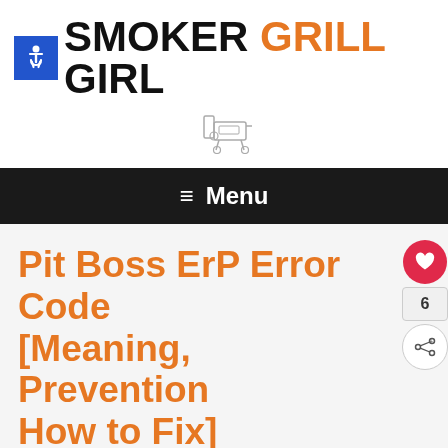SMOKER GRILL GIRL
[Figure (logo): Smoker grill icon/logo illustration in gray]
[Figure (other): Navigation menu bar with hamburger icon and Menu text]
Pit Boss ErP Error Code [Meaning, Prevention How to Fix]
March 30, 2021 by Smoker Grill Girl